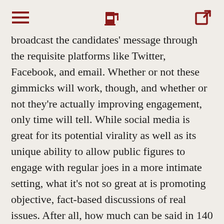[hamburger menu] [fuel pump icon] [share icon]
broadcast the candidates' message through the requisite platforms like Twitter, Facebook, and email. Whether or not these gimmicks will work, though, and whether or not they're actually improving engagement, only time will tell. While social media is great for its potential virality as well as its unique ability to allow public figures to engage with regular joes in a more intimate setting, what it's not so great at is promoting objective, fact-based discussions of real issues. After all, how much can be said in 140 characters?
(Image sources: CNET, Human Events)